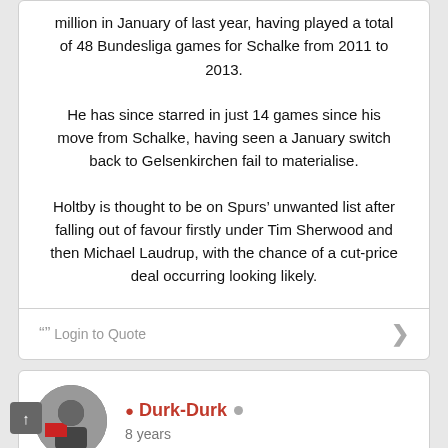million in January of last year, having played a total of 48 Bundesliga games for Schalke from 2011 to 2013.
He has since starred in just 14 games since his move from Schalke, having seen a January switch back to Gelsenkirchen fail to materialise.
Holtby is thought to be on Spurs’ unwanted list after falling out of favour firstly under Tim Sherwood and then Michael Laudrup, with the chance of a cut-price deal occurring looking likely.
“” Login to Quote
Durk-Durk
8 years